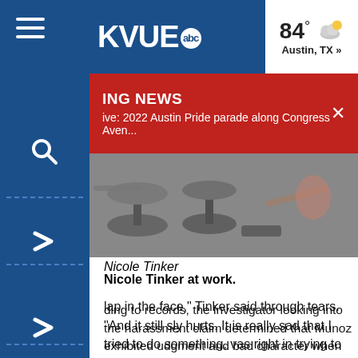KVUE abc — 84° Austin, TX »
BREAKING NEWS — Live: 2022 Austin Pride parade along Congress Aven...
[Figure (photo): Photo of gym equipment on a surface, including what appears to be weights, handles, and a rope]
Nicole Tinker
Nicole Tinker at work.
lap in the face," Tinker said through tears. "And it still sly hurts. It is really sad that I tried to do something, vas right in trying to stop somebody from doing these ."
ding to records, the investigator looking into the harassment claim determined that Munoz exhibited udgment and bad character when he interacted with linate Tinker ... His actions should render him unfit to ue to serve."